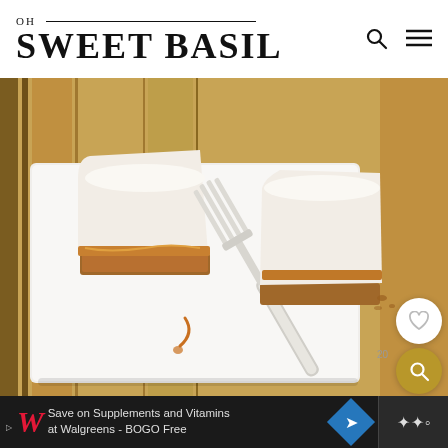OH SWEET BASIL
[Figure (photo): Close-up photo of a slice of cheesecake with graham cracker crust on a white plate, with a silver fork, caramel drizzle, and a second slice in background. Wooden table surface visible. Like (heart) button and search button overlays visible in bottom right.]
20
Save on Supplements and Vitamins at Walgreens - BOGO Free